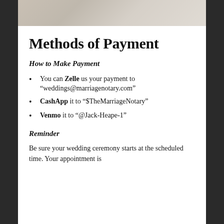[Figure (photo): Top portion of a wedding photo showing draped fabric or clothing, partially cropped]
Methods of Payment
How to Make Payment
You can Zelle us your payment to “weddings@marriagenotary.com”
CashApp it to “$TheMarriageNotary”
Venmo it to “@Jack-Heape-1”
Reminder
Be sure your wedding ceremony starts at the scheduled time. Your appointment is